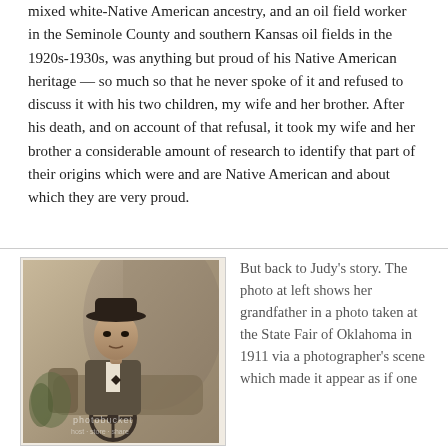mixed white-Native American ancestry, and an oil field worker in the Seminole County and southern Kansas oil fields in the 1920s-1930s, was anything but proud of his Native American heritage — so much so that he never spoke of it and refused to discuss it with his two children, my wife and her brother. After his death, and on account of that refusal, it took my wife and her brother a considerable amount of research to identify that part of their origins which were and are Native American and about which they are very proud.
[Figure (photo): Sepia-toned historical photograph of a man wearing a bowler hat and bow tie, seated at a prop automobile steering wheel in a photographer's studio scene, taken at the State Fair of Oklahoma in 1911. A photobucket watermark is visible.]
But back to Judy's story. The photo at left shows her grandfather in a photo taken at the State Fair of Oklahoma in 1911 via a photographer's scene which made it appear as if one